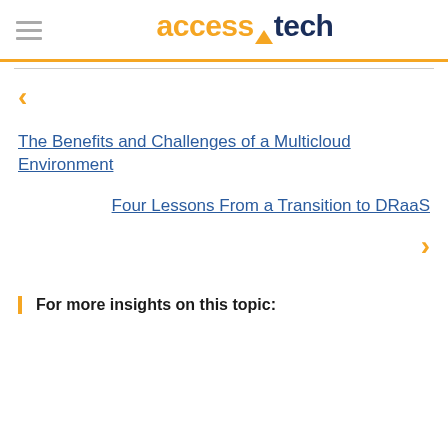access.tech
<
The Benefits and Challenges of a Multicloud Environment
Four Lessons From a Transition to DRaaS
>
For more insights on this topic: